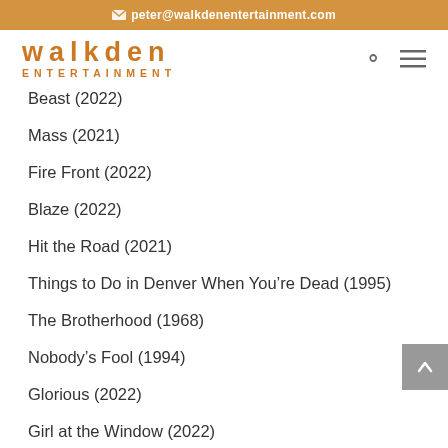peter@walkdenentertainment.com
[Figure (logo): Walkden Entertainment logo with stylized text 'walkden' in orange/amber and 'ENTERTAINMENT' below in spaced capitals]
Beast (2022)
Mass (2021)
Fire Front (2022)
Blaze (2022)
Hit the Road (2021)
Things to Do in Denver When You're Dead (1995)
The Brotherhood (1968)
Nobody's Fool (1994)
Glorious (2022)
Girl at the Window (2022)